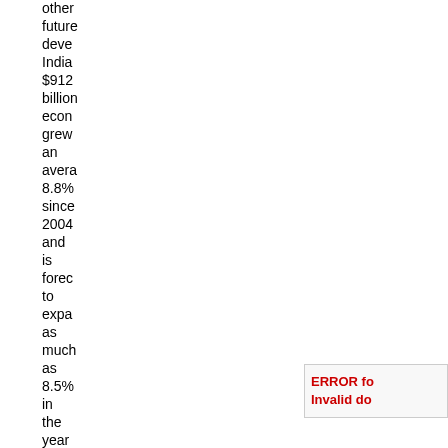other future deve India $912 billion econ grew an avera 8.8% since 2004 and is forec to expa as much as 8.5% in the year to Marc
ERROR fo Invalid do